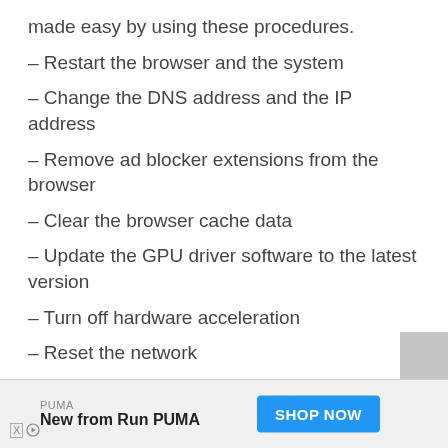made easy by using these procedures.
– Restart the browser and the system
– Change the DNS address and the IP address
– Remove ad blocker extensions from the browser
– Clear the browser cache data
– Update the GPU driver software to the latest version
– Turn off hardware acceleration
– Reset the network
– Contact the Twitch support
[Figure (other): PUMA advertisement banner with 'New from Run PUMA' and 'SHOP NOW' button]